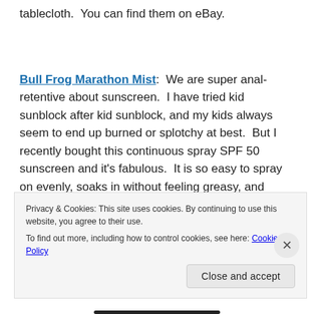tablecloth.  You can find them on eBay.
Bull Frog Marathon Mist:  We are super anal-retentive about sunscreen.  I have tried kid sunblock after kid sunblock, and my kids always seem to end up burned or splotchy at best.  But I recently bought this continuous spray SPF 50 sunscreen and it's fabulous.  It is so easy to spray on evenly, soaks in without feeling greasy, and protects them like nothing else I've found.
Privacy & Cookies: This site uses cookies. By continuing to use this website, you agree to their use.
To find out more, including how to control cookies, see here: Cookie Policy
Close and accept